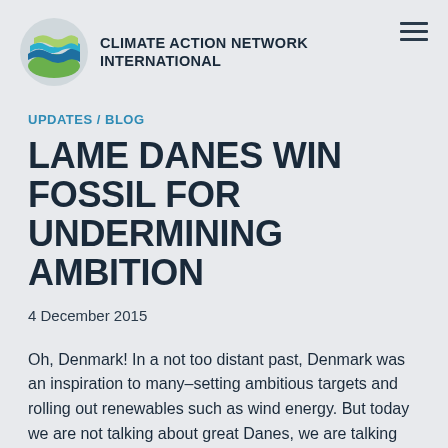CLIMATE ACTION NETWORK INTERNATIONAL
UPDATES / BLOG
LAME DANES WIN FOSSIL FOR UNDERMINING AMBITION
4 December 2015
Oh, Denmark! In a not too distant past, Denmark was an inspiration to many–setting ambitious targets and rolling out renewables such as wind energy. But today we are not talking about great Danes, we are talking about lame Danes. That's